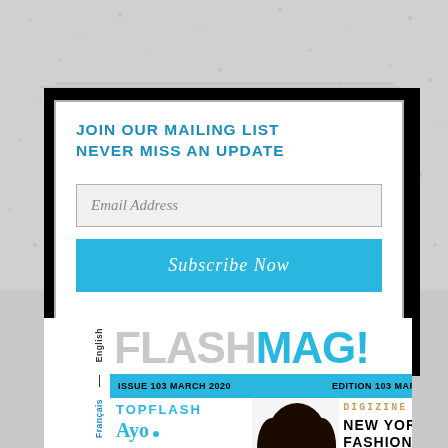[Figure (screenshot): Textured gray/white speckled background filling the upper portion of the page]
JOIN OUR MAILING LIST
NEVER MISS AN UPDATE
Email Address
Subscribe Now
[Figure (screenshot): FLASHMAG! magazine cover strip showing logo, ISSUE 103 MARCH 2020 / EDITION 103 MARS 2020 cyan bar, TOPFLASH label, Ayo text, DIGIZINE label, NEW YORK FASHION text, and partial hair photo]